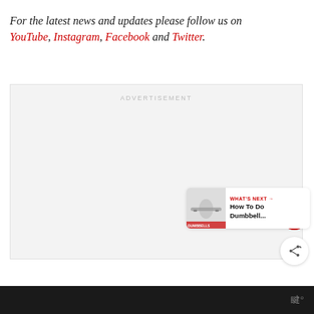For the latest news and updates please follow us on YouTube, Instagram, Facebook and Twitter.
[Figure (other): Advertisement placeholder box with light grey background and 'ADVERTISEMENT' label at top center. Contains a heart/like button (red circle), a share button (white circle with share icon), and a 'What's Next' card showing a dumbbell exercise thumbnail and text 'WHAT'S NEXT → How To Do Dumbbell...']
www°